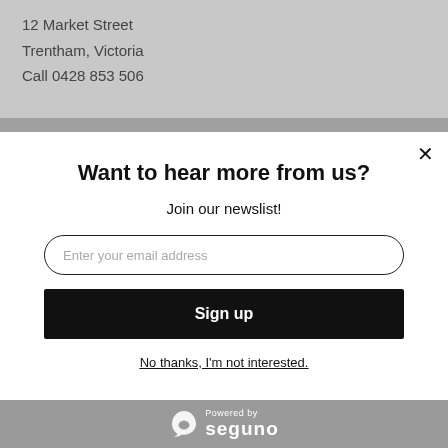12 Market Street
Trentham, Victoria
Call 0428 853 506
Want to hear more from us?
Join our newslist!
Enter your email address
Sign up
No thanks, I'm not interested.
[Figure (logo): Powered by Seguno logo with icon on grey footer bar]